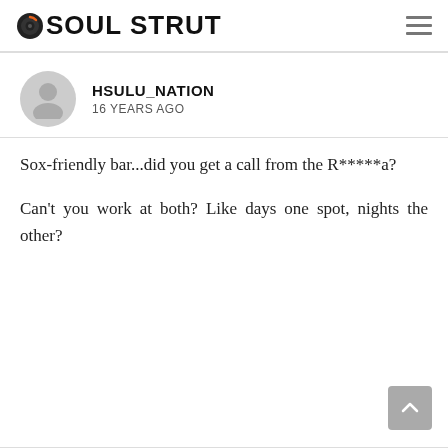SOUL STRUT
HSULU_NATION
16 YEARS AGO
Sox-friendly bar...did you get a call from the R*****a?

Can't you work at both? Like days one spot, nights the other?